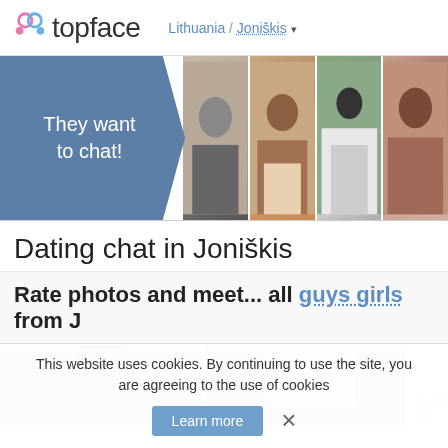[Figure (logo): Topface logo with pink/blue circular icon and 'topface' wordmark]
Lithuania / Joniškis ▾
[Figure (photo): Banner with blue box 'They want to chat!' and four profile photos]
Dating chat in Joniškis
Rate photos and meet... all guys girls from J
[Figure (photo): Two partially visible profile photo cards at bottom]
This website uses cookies. By continuing to use the site, you are agreeing to the use of cookies
Learn more